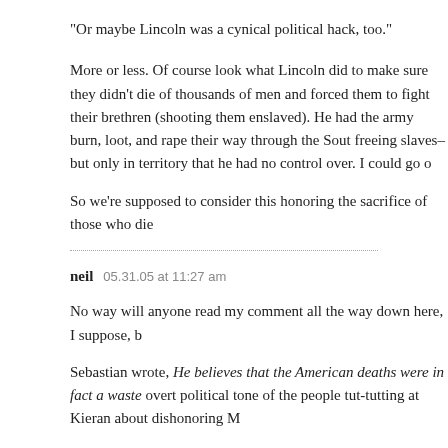“Or maybe Lincoln was a cynical political hack, too.”
More or less. Of course look what Lincoln did to make sure they didn’t die of thousands of men and forced them to fight their brethren (shooting them enslaved). He had the army burn, loot, and rape their way through the South freeing slaves–but only in territory that he had no control over. I could go on
So we’re supposed to consider this honoring the sacrifice of those who die
neil   05.31.05 at 11:27 am
No way will anyone read my comment all the way down here, I suppose, b
Sebastian wrote, He believes that the American deaths were in fact a waste overt political tone of the people tut-tutting at Kieran about dishonoring M
The logic seems to be that on Memorial Day, we must pretend that no sold
The simple fact that this argument benefits politicians who send soldiers to obvious and uncontroversial.